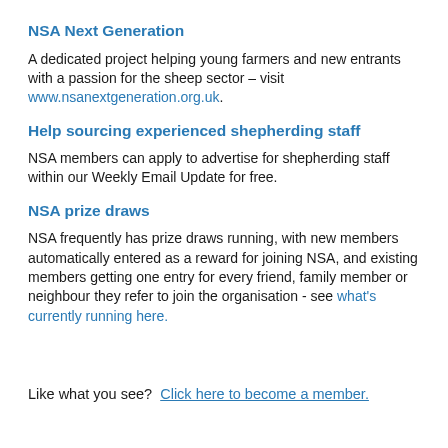NSA Next Generation
A dedicated project helping young farmers and new entrants with a passion for the sheep sector – visit www.nsanextgeneration.org.uk.
Help sourcing experienced shepherding staff
NSA members can apply to advertise for shepherding staff within our Weekly Email Update for free.
NSA prize draws
NSA frequently has prize draws running, with new members automatically entered as a reward for joining NSA, and existing members getting one entry for every friend, family member or neighbour they refer to join the organisation - see what's currently running here.
Like what you see?  Click here to become a member.